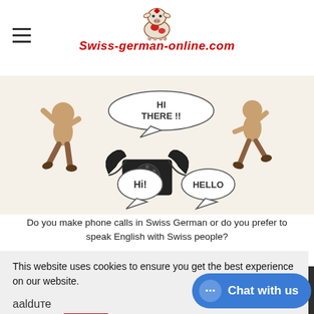swiss-german-online.com
[Figure (illustration): Comic-style illustration of cartoon figures greeting each other via a telephone, with speech bubbles saying 'HI THERE!!', 'Hi!', and 'HELLO']
Do you make phone calls in Swiss German or do you prefer to speak English with Swiss people?
This website uses cookies to ensure you get the best experience on our website.
Learn more
Allow cookies
essons via
Chat with us
aalduте